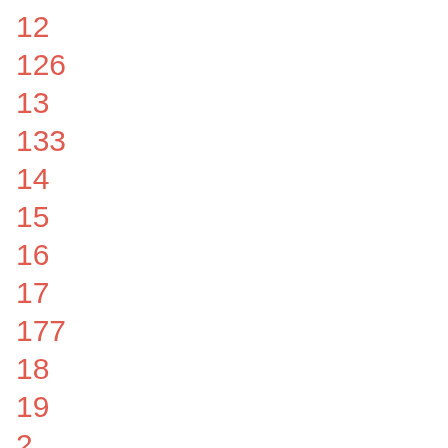12
126
13
133
14
15
16
17
177
18
19
2
20
201
2020Elections